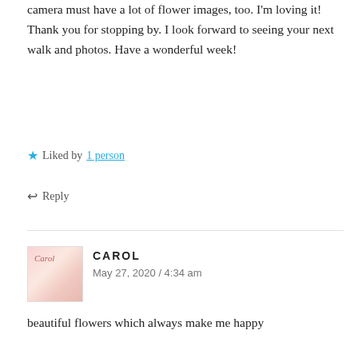camera must have a lot of flower images, too. I'm loving it! Thank you for stopping by. I look forward to seeing your next walk and photos. Have a wonderful week!
★ Liked by 1 person
↩ Reply
CAROL
May 27, 2020 / 4:34 am
beautiful flowers which always make me happy
★ Like
↩ Reply